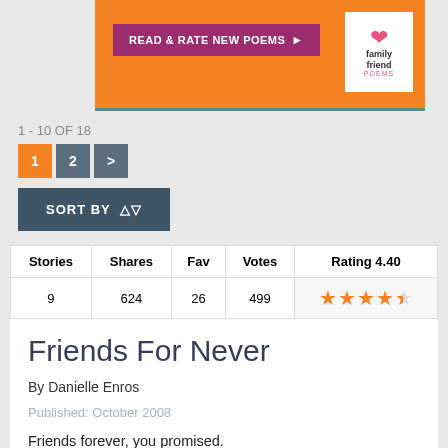[Figure (screenshot): Orange banner with 'READ & RATE NEW POEMS' button and Family Friend Poems logo]
1 - 10 OF 18
1  2  >
SORT BY
| Stories | Shares | Fav | Votes | Rating 4.40 |
| --- | --- | --- | --- | --- |
| 9 | 624 | 26 | 499 | ★★★★½ |
Friends For Never
By Danielle Enros
Published: October 2008
Friends forever, you promised.
Never to part, you said.